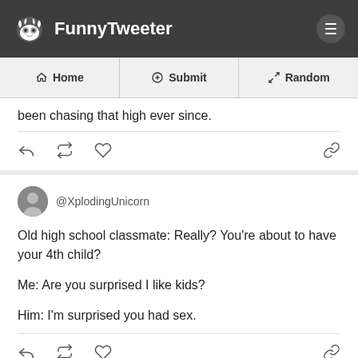FunnyTweeter
Home | Submit | Random
been chasing that high ever since.
@XplodingUnicorn

Old high school classmate: Really? You're about to have your 4th child?

Me: Are you surprised I like kids?

Him: I'm surprised you had sex.